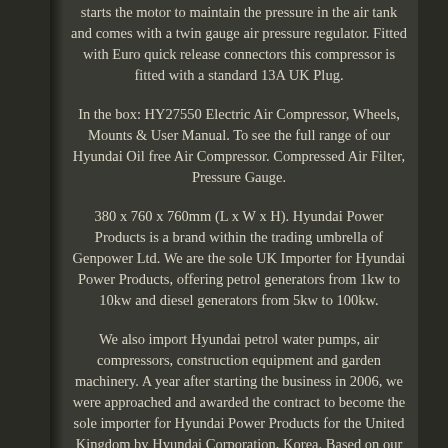starts the motor to maintain the pressure in the air tank and comes with a twin gauge air pressure regulator. Fitted with Euro quick release connectors this compressor is fitted with a standard 13A UK Plug.
In the box: HY27550 Electric Air Compressor, Wheels, Mounts & User Manual. To see the full range of our Hyundai Oil free Air Compressor. Compressed Air Filter, Pressure Gauge.
380 x 760 x 760mm (L x W x H). Hyundai Power Products is a brand within the trading umbrella of Genpower Ltd. We are the sole UK Importer for Hyundai Power Products, offering petrol generators from 1kw to 10kw and diesel generators from 5kw to 100kw.
We also import Hyundai petrol water pumps, air compressors, construction equipment and garden machinery. A year after starting the business in 2006, we were approached and awarded the contract to become the sole importer for Hyundai Power Products for the United Kingdom by Hyundai Corporation, Korea. Based on our knowledge and machinery sales, as well as engineering, support and maintenance expertise.